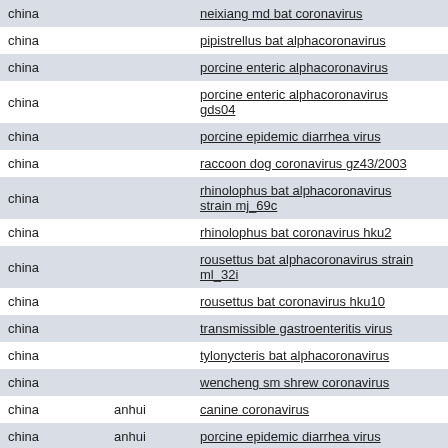| country | region | name | rank |
| --- | --- | --- | --- |
| china |  | neixiang md bat coronavirus | species |
| china |  | pipistrellus bat alphacoronavirus | species |
| china |  | porcine enteric alphacoronavirus | no rank |
| china |  | porcine enteric alphacoronavirus gds04 | no rank |
| china |  | porcine epidemic diarrhea virus | species |
| china |  | raccoon dog coronavirus gz43/2003 | no rank |
| china |  | rhinolophus bat alphacoronavirus strain mj_69c | species |
| china |  | rhinolophus bat coronavirus hku2 | species |
| china |  | rousettus bat alphacoronavirus strain ml_32i | species |
| china |  | rousettus bat coronavirus hku10 | no rank |
| china |  | transmissible gastroenteritis virus | no rank |
| china |  | tylonycteris bat alphacoronavirus | species |
| china |  | wencheng sm shrew coronavirus | species |
| china | anhui | canine coronavirus | no rank |
| china | anhui | porcine epidemic diarrhea virus | species |
| china | anhui | transmissible gastroenteritis virus | no rank |